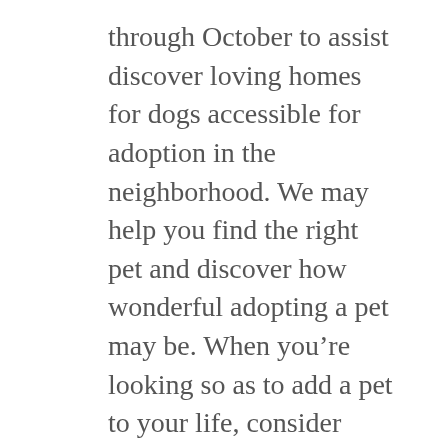through October to assist discover loving homes for dogs accessible for adoption in the neighborhood. We may help you find the right pet and discover how wonderful adopting a pet may be. When you’re looking so as to add a pet to your life, consider adopting certainly one of our homeless animals. We can’t perceive how this kind soul was abandoned and hope in the event you meet him, you’ll love him as a lot as we do. Lewis is currently in a foster house, but continues to be accessible for adoption. The animals featured on our internet page can be found for adoption on first come first served basis, except uncommon or distinctive animals, which may be subject to a drawing for the opportunity to adopt.